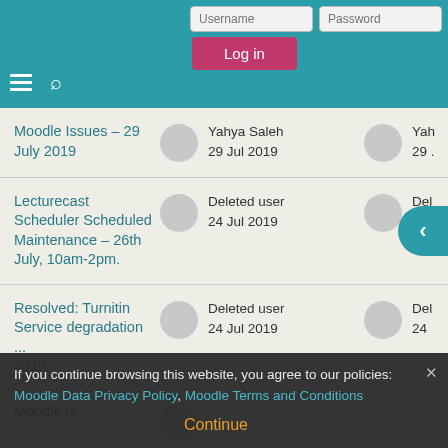Moodle login header with Username, Password fields and Log in button
Moodle Issues – 29 July 2019 | Yahya Saleh 29 Jul 2019
Lecturecast Scheduler Scheduled Maintenance – 26th July, 10am-2pm. | Deleted user 24 Jul 2019
Resolved: Turnitin Service degradation ... 2019 | Deleted user 24 Jul 2019
Moodle is
If you continue browsing this website, you agree to our policies: Moodle Data Privacy Policy, Moodle Terms and Conditions
Continue